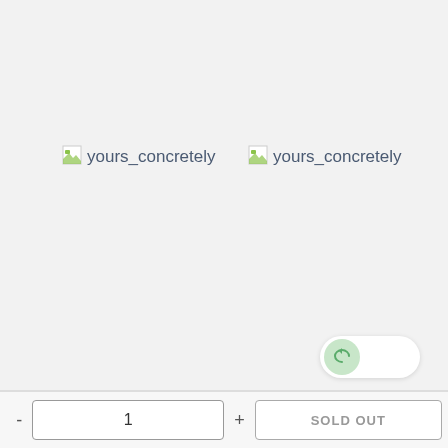[Figure (other): Broken image icon with label 'yours_concretely' on the left side]
[Figure (other): Broken image icon with label 'yours_concretely' on the right side]
[Figure (other): Toggle switch button in off/on state with green icon, positioned bottom right]
1
SOLD OUT